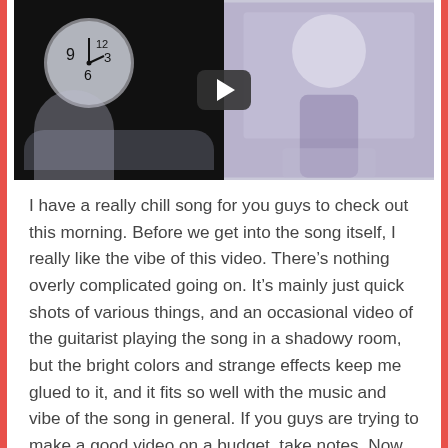[Figure (screenshot): YouTube-style video thumbnail showing two panels: left panel has a dark background with a clock-like circle and ghostly figure, right panel shows a person sitting against a wall with chalk drawings. A play button overlay is centered.]
I have a really chill song for you guys to check out this morning. Before we get into the song itself, I really like the vibe of this video. There's nothing overly complicated going on. It's mainly just quick shots of various things, and an occasional video of the guitarist playing the song in a shadowy room, but the bright colors and strange effects keep me glued to it, and it fits so well with the music and vibe of the song in general. If you guys are trying to make a good video on a budget, take notes. Now, let's dive into the song itself a little bit, listen to it again here if you want, to give my guy some Spotify plays: